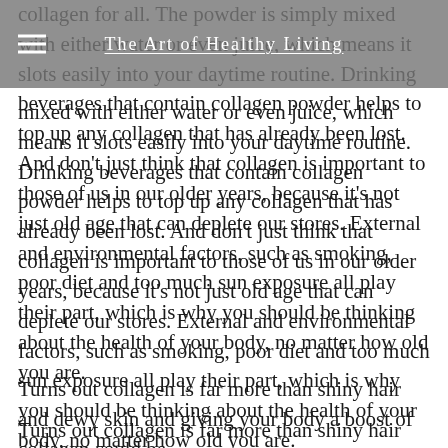The Art of Healthy Living
mixed with either water or even juice, which means it slots easily into your daytime routine. Drinking beverages that contain collagen powder helps to top up any collagen that has already been lost. And don't just think that collagen is important to those of us in our older years, because it's not just old age that can deplete our stores. External and environmental factors, such as smoking, poor diet and too much sun exposure all play their part, which is why you should be thinking about the health of your body, no matter how old you are.
Turns out collagen is far more than shiny hair and dewy skin and giving your body a boost of collagen could be